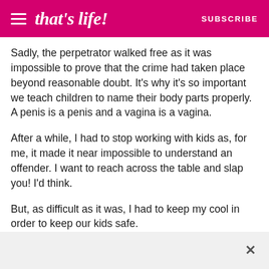that's life! SUBSCRIBE
Sadly, the perpetrator walked free as it was impossible to prove that the crime had taken place beyond reasonable doubt. It's why it's so important we teach children to name their body parts properly. A penis is a penis and a vagina is a vagina.
After a while, I had to stop working with kids as, for me, it made it near impossible to understand an offender. I want to reach across the table and slap you! I'd think.
But, as difficult as it was, I had to keep my cool in order to keep our kids safe.
It can be difficult to deal with, but thankfully I work with my friend, Bea, a fellow psychologist.